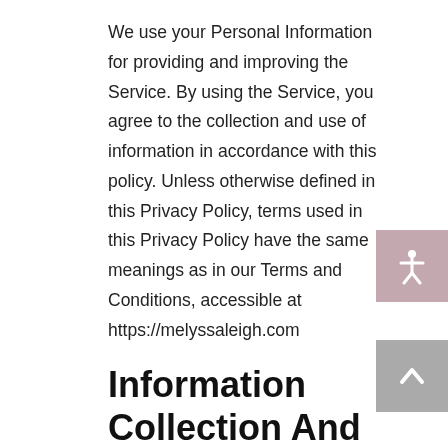We use your Personal Information for providing and improving the Service. By using the Service, you agree to the collection and use of information in accordance with this policy. Unless otherwise defined in this Privacy Policy, terms used in this Privacy Policy have the same meanings as in our Terms and Conditions, accessible at https://melyssaleigh.com
Information Collection And Use
While using our Service, we may ask you to provide us with certain personally identifiable information that can be used to contact or identify you. Personally identifiable information